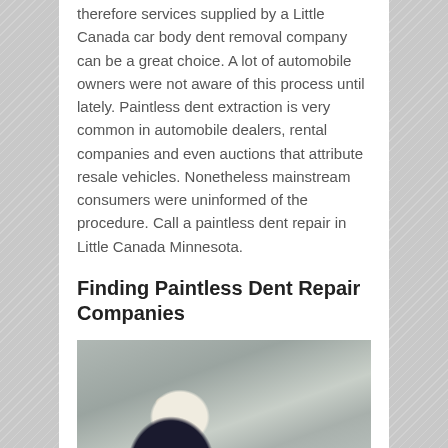therefore services supplied by a Little Canada car body dent removal company can be a great choice. A lot of automobile owners were not aware of this process until lately. Paintless dent extraction is very common in automobile dealers, rental companies and even auctions that attribute resale vehicles. Nonetheless mainstream consumers were uninformed of the procedure. Call a paintless dent repair in Little Canada Minnesota.
Finding Paintless Dent Repair Companies
[Figure (photo): A person wearing a dark jacket and white cap working on a silver car door panel, performing paintless dent repair.]